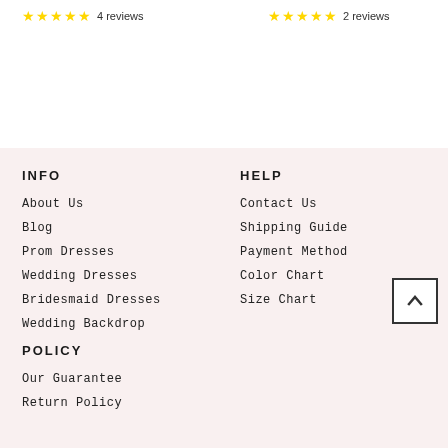★★★★★ 4 reviews
★★★★★ 2 reviews
INFO
About Us
Blog
Prom Dresses
Wedding Dresses
Bridesmaid Dresses
Wedding Backdrop
HELP
Contact Us
Shipping Guide
Payment Method
Color Chart
Size Chart
POLICY
Our Guarantee
Return Policy